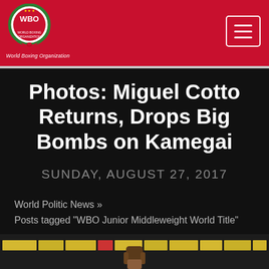WBO World Boxing Organization
Photos: Miguel Cotto Returns, Drops Big Bombs on Kamegai
SUNDAY, AUGUST 27, 2017
World Politic News »
Posts tagged "WBO Junior Middleweight World Title"
[Figure (photo): Boxing match photo showing a raised fist with scorecards banner strip visible in the background arena setting]